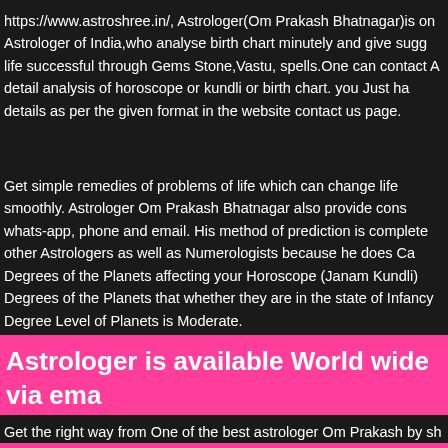https://www.astroshree.in/, Astrologer(Om Prakash Bhatnagar)is one of the best Astrologer of India,who analyse birth chart minutely and give suggestions to make life successful through Gems Stone,Vastu, spells.One can contact Astrologer for detail analysis of horoscope or kundli or birth chart. you Just have to fill the details as per the given format in the website contact us page.
Get simple remedies of problems of life which can change life and make it run smoothly. Astrologer Om Prakash Bhatnagar also provide consultation through whats-app, phone and email. His method of prediction is completely different from other Astrologers as well as Numerologists because he does Calculations of the Degrees of the Planets affecting your Horoscope (Janam Kundli) and analyse the Degrees of the Planets that whether they are in the state of Infancy, Old Age or the Degree Level of Planets is Moderate.
Astrologer is available World wide via email, Whatsapp and phone
Get the right way from One of the best astrologer Om Prakash by sh...